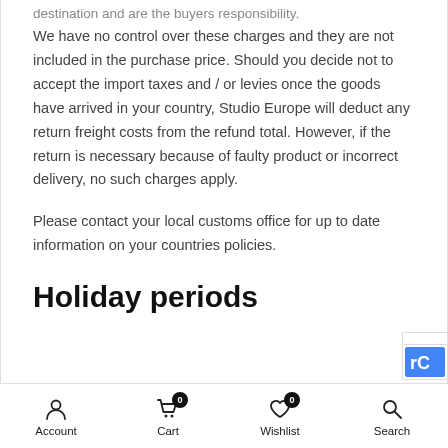destination and are the buyers responsibility.
We have no control over these charges and they are not included in the purchase price. Should you decide not to accept the import taxes and / or levies once the goods have arrived in your country, Studio Europe will deduct any return freight costs from the refund total. However, if the return is necessary because of faulty product or incorrect delivery, no such charges apply.
Please contact your local customs office for up to date information on your countries policies.
Holiday periods
Account | Cart 0 | Wishlist 0 | Search